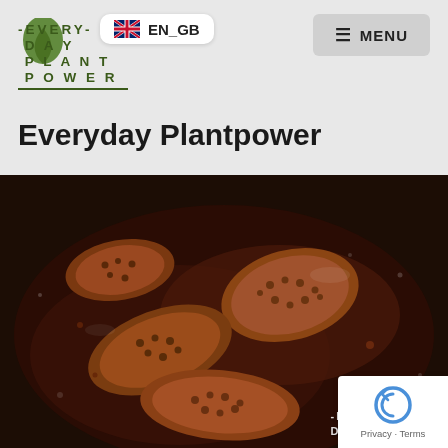[Figure (logo): Everyday Plant Power logo with green text arranged as EVERY / DAY / PLANT / POWER with dash accents and underline]
[Figure (screenshot): EN_GB language selector badge with UK flag]
[Figure (screenshot): MENU hamburger button top right]
Everyday Plantpower
[Figure (photo): Close-up photo of mushrooms (likely morel mushrooms) cooking in a dark sauce in a frying pan, seen from above]
[Figure (logo): Watermark of Everyday Plant Power logo overlaid on photo bottom right]
[Figure (screenshot): reCAPTCHA badge with privacy and terms links, bottom right corner]